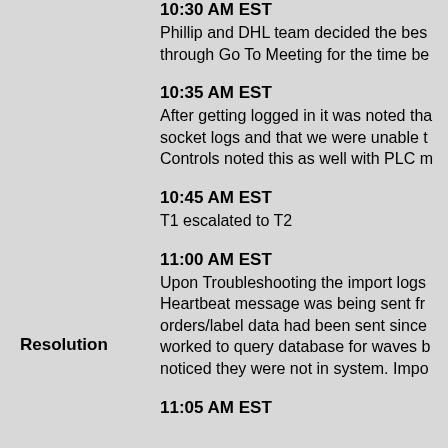10:30 AM EST
Phillip and DHL team decided the best approach was to connect through Go To Meeting for the time be
10:35 AM EST
After getting logged in it was noted that there were no web socket logs and that we were unable to. Controls noted this as well with PLC m
10:45 AM EST
T1 escalated to T2
Resolution
11:00 AM EST
Upon Troubleshooting the import logs it was noted a Heartbeat message was being sent from the server, orders/label data had been sent since worked to query database for waves but noticed they were not in system. Impo
11:05 AM EST